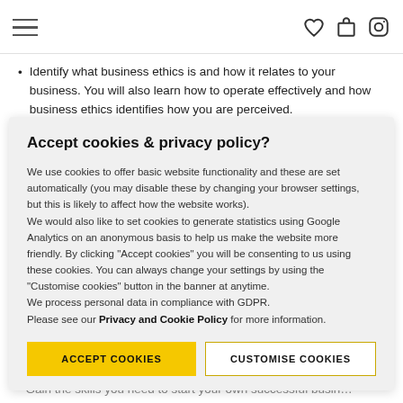Navigation bar with hamburger menu and icons (heart, bag, Instagram)
Identify what business ethics is and how it relates to your business. You will also learn how to operate effectively and how business ethics identifies how you are perceived.
Know why you need a website, what to include and how to…
Accept cookies & privacy policy?
We use cookies to offer basic website functionality and these are set automatically (you may disable these by changing your browser settings, but this is likely to affect how the website works). We would also like to set cookies to generate statistics using Google Analytics on an anonymous basis to help us make the website more friendly. By clicking "Accept cookies" you will be consenting to us using these cookies. You can always change your settings by using the "Customise cookies" button in the banner at anytime. We process personal data in compliance with GDPR. Please see our Privacy and Cookie Policy for more information.
Gain the skills you need to start your own successful business…